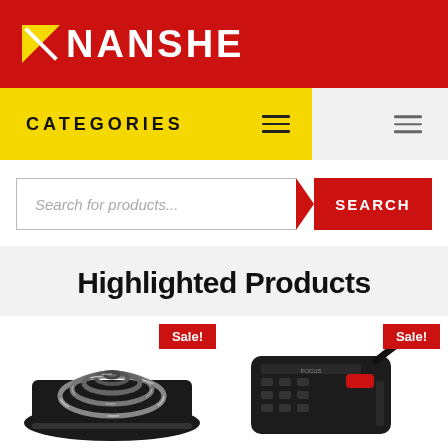[Figure (logo): NANSHE logo: red background with white text 'NANSHE' and a yellow/white square icon with diagonal slash]
CATEGORIES
[Figure (screenshot): Search bar with placeholder 'Search for products...' and a red SEARCH button]
Highlighted Products
[Figure (photo): Electric coil burner/hot plate with Sale! badge]
[Figure (photo): Power strip/surge protector with Sale! badge]